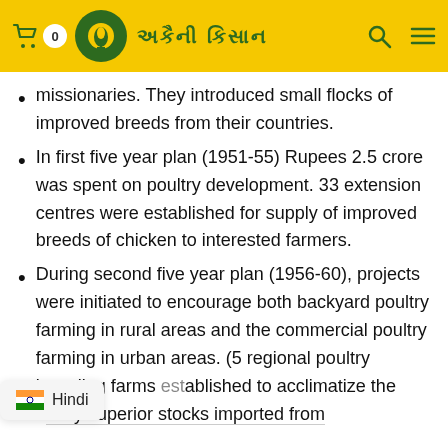0  [logo]  [site name in Devanagari]  [search]  [menu]
missionaries. They introduced small flocks of improved breeds from their countries.
In first five year plan (1951-55) Rupees 2.5 crore was spent on poultry development. 33 extension centres were established for supply of improved breeds of chicken to interested farmers.
During second five year plan (1956-60), projects were initiated to encourage both backyard poultry farming in rural areas and the commercial poultry farming in urban areas. (5 regional poultry breeding farms [were est]ablished to acclimatize the [genetically] superior stocks imported from
Hindi